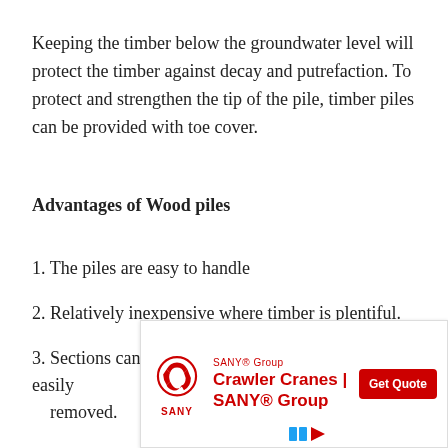Keeping the timber below the groundwater level will protect the timber against decay and putrefaction. To protect and strengthen the tip of the pile, timber piles can be provided with toe cover.
Advantages of Wood piles
1. The piles are easy to handle
2. Relatively inexpensive where timber is plentiful.
3. Sections can be joined together and excess length easily removed.
[Figure (other): Advertisement for SANY Group Crawler Cranes with logo, Get Quote button, and ad network icons]